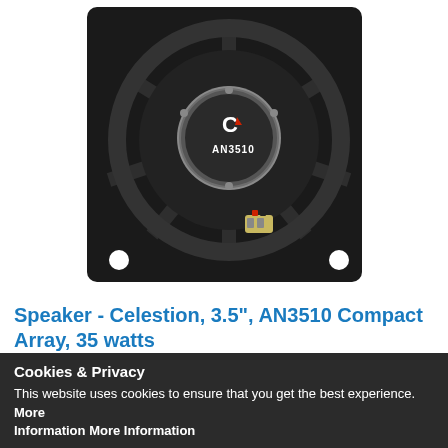[Figure (photo): Back view of Celestion AN3510 Compact Array speaker, showing black square mounting plate with circular speaker driver, silver center cap with 'C' logo and 'AN3510' text, speaker terminals visible at bottom, and two white mounting holes at bottom corners.]
Speaker - Celestion, 3.5", AN3510 Compact Array, 35 watts
Special Order Item
Speaker, Celestion, AN3510 Compact Array, 3.5 in., 8 ohm Features:
Compact and lightweight, full-range neodymium loudspeakers
Advanced Finite Element Analysis techniques used for acoustic
Cookies & Privacy
This website uses cookies to ensure that you get the best experience. More Information More Information